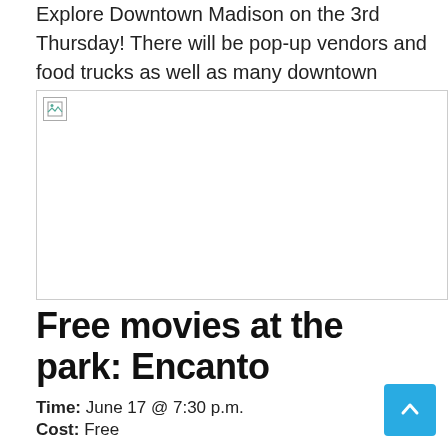Explore Downtown Madison on the 3rd Thursday! There will be pop-up vendors and food trucks as well as many downtown businesses staying open late.
[Figure (photo): Broken/missing image placeholder with small image icon in top-left corner]
Free movies at the park: Encanto
Time: June 17 @ 7:30 p.m.
Cost: Free